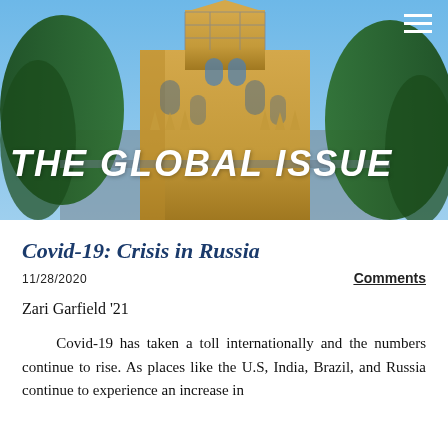[Figure (photo): Aerial/upward view of a Gothic cathedral tower with scaffolding against a blue sky, flanked by green trees. Hero banner image for 'The Global Issue' publication.]
THE GLOBAL ISSUE
Covid-19: Crisis in Russia
11/28/2020
Comments
Zari Garfield '21
Covid-19 has taken a toll internationally and the numbers continue to rise. As places like the U.S, India, Brazil, and Russia continue to experience an increase in